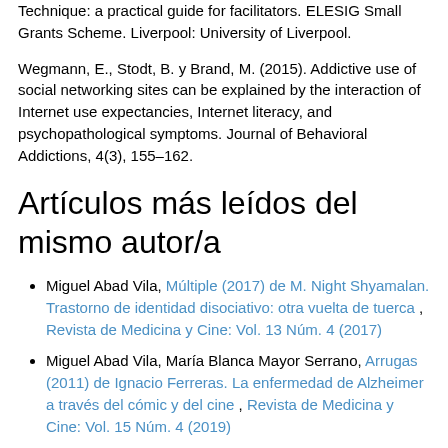Technique: a practical guide for facilitators. ELESIG Small Grants Scheme. Liverpool: University of Liverpool.
Wegmann, E., Stodt, B. y Brand, M. (2015). Addictive use of social networking sites can be explained by the interaction of Internet use expectancies, Internet literacy, and psychopathological symptoms. Journal of Behavioral Addictions, 4(3), 155–162.
Artículos más leídos del mismo autor/a
Miguel Abad Vila, Múltiple (2017) de M. Night Shyamalan. Trastorno de identidad disociativo: otra vuelta de tuerca , Revista de Medicina y Cine: Vol. 13 Núm. 4 (2017)
Miguel Abad Vila, María Blanca Mayor Serrano, Arrugas (2011) de Ignacio Ferreras. La enfermedad de Alzheimer a través del cómic y del cine , Revista de Medicina y Cine: Vol. 15 Núm. 4 (2019)
Miguel Abad Vila, El loco del pelo rojo (1956) de Vincente Minelli. La patología dual de Vincent Van Gogh , Revista de Medicina y Cine: Vol. 16 Núm. 3